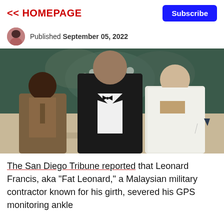<< HOMEPAGE
Subscribe
Published September 05, 2022
[Figure (photo): Three men posing together at a formal event. Left: a shorter Black man in a brown suit and tie. Center: a tall heavyset man in a black tuxedo with bow tie. Right: a heavyset white man in a white US Navy uniform with medals and insignia. Background shows a painting of flowers.]
The San Diego Tribune reported that Leonard Francis, aka "Fat Leonard," a Malaysian military contractor known for his girth, severed his GPS monitoring ankle